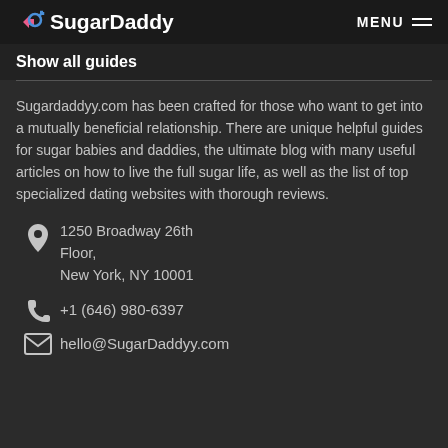SugarDaddy | MENU
Show all guides
Sugardaddyy.com has been crafted for those who want to get into a mutually beneficial relationship. There are unique helpful guides for sugar babies and daddies, the ultimate blog with many useful articles on how to live the full sugar life, as well as the list of top specialized dating websites with thorough reviews.
1250 Broadway 26th Floor,
New York, NY 10001
+1 (646) 980-6397
hello@SugarDaddyy.com